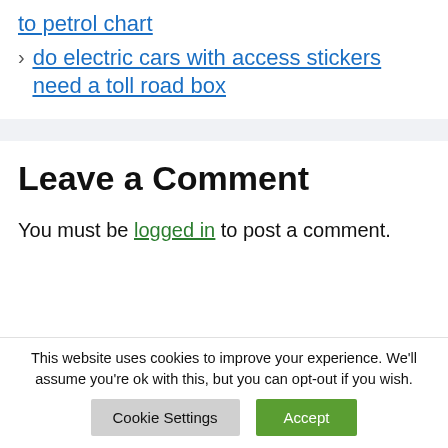to petrol chart
> do electric cars with access stickers need a toll road box
Leave a Comment
You must be logged in to post a comment.
This website uses cookies to improve your experience. We'll assume you're ok with this, but you can opt-out if you wish.